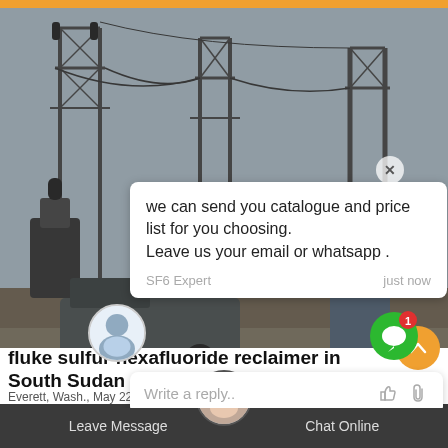[Figure (screenshot): Chat popup overlay on a photo of electrical substation/transmission towers. Shows chat message, avatar, reply box, and SF6China branding.]
we can send you catalogue and price list for you choosing.
Leave us your email or whatsapp .
SF6 Expert    just now
Write a reply..
SF6China
fluke sulfur hexafluoride reclaimer in South Sudan
Everett, Wash., May 22, 2017 – Identifying leaks of sulfur
Leave Message    Chat Online